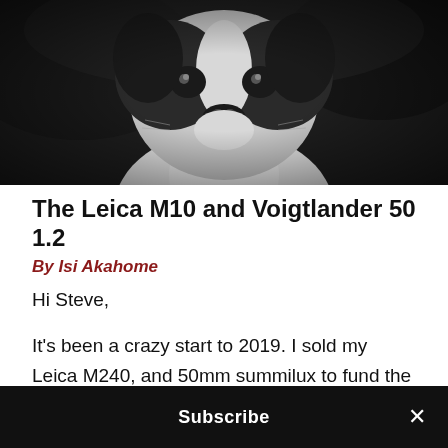[Figure (photo): Black and white close-up photograph of a Boston Terrier dog face looking slightly downward, with blurred dark background]
The Leica M10 and Voigtlander 50 1.2
By Isi Akahome
Hi Steve,
It's been a crazy start to 2019. I sold my Leica M240, and 50mm summilux to fund the new Fuji GFX 50R. I got the camera wile I was on a trip to Japan with the 63mm 2.8 lens, and it was a nightmare. The EVF and screen on the camera would just go red after a few seconds, so I sent it in to Fuji to repair the camera. It came back, and seemed to be fine, until I used it for a
Subscribe ×